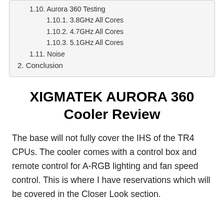1.10. Aurora 360 Testing
1.10.1. 3.8GHz All Cores
1.10.2. 4.7GHz All Cores
1.10.3. 5.1GHz All Cores
1.11. Noise
2. Conclusion
XIGMATEK AURORA 360 Cooler Review
The base will not fully cover the IHS of the TR4 CPUs. The cooler comes with a control box and remote control for A-RGB lighting and fan speed control. This is where I have reservations which will be covered in the Closer Look section.